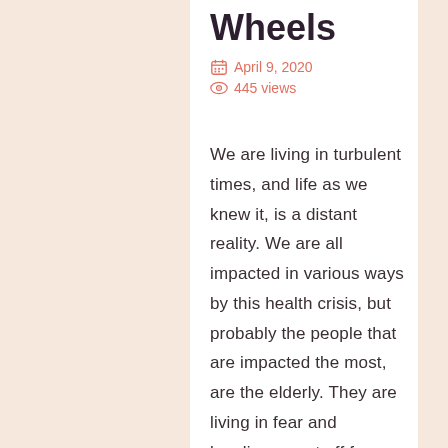Wheels
April 9, 2020
445 views
We are living in turbulent times, and life as we knew it, is a distant reality. We are all impacted in various ways by this health crisis, but probably the people that are impacted the most, are the elderly. They are living in fear and loneliness, cut off from caregivers and visitors. As you know, lots of our seniors are homebound and cannot